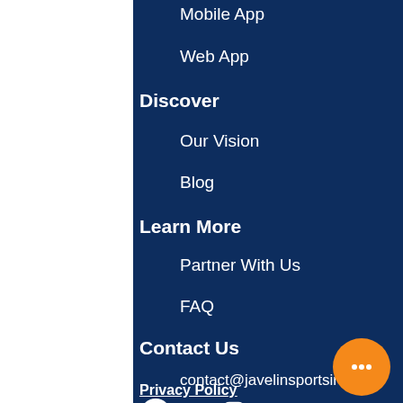Mobile App
Web App
Discover
Our Vision
Blog
Learn More
Partner With Us
FAQ
Contact Us
contact@javelinsportsinc.com
Justin @ +1 (289) 338 6337
[Figure (infographic): Social media icons: Facebook, LinkedIn, Instagram, Twitter, Email]
Privacy Policy